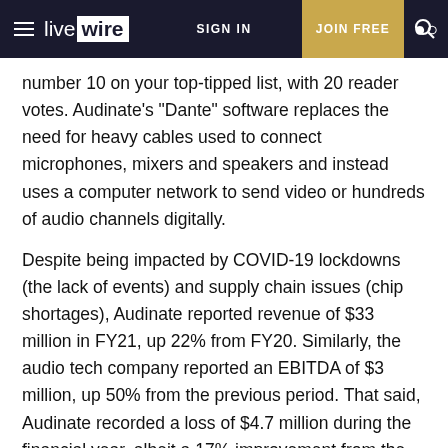live wire | SIGN IN | JOIN FREE
number 10 on your top-tipped list, with 20 reader votes. Audinate's "Dante" software replaces the need for heavy cables used to connect microphones, mixers and speakers and instead uses a computer network to send video or hundreds of audio channels digitally.
Despite being impacted by COVID-19 lockdowns (the lack of events) and supply chain issues (chip shortages), Audinate reported revenue of $33 million in FY21, up 22% from FY20. Similarly, the audio tech company reported an EBITDA of $3 million, up 50% from the previous period. That said, Audinate recorded a loss of $4.7 million during the financial year, albeit a 17% improvement from the previous year.